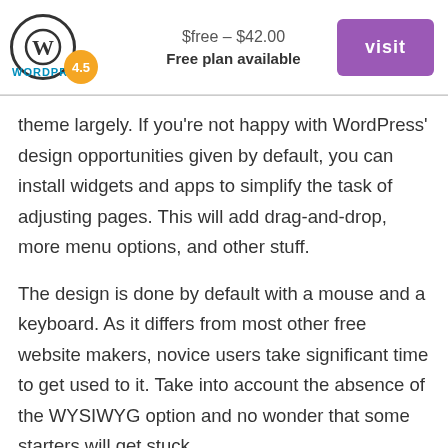[Figure (logo): WordPress logo with circular W icon and 4.5 rating badge, alongside pricing info and visit button]
theme largely. If you're not happy with WordPress' design opportunities given by default, you can install widgets and apps to simplify the task of adjusting pages. This will add drag-and-drop, more menu options, and other stuff.
The design is done by default with a mouse and a keyboard. As it differs from most other free website makers, novice users take significant time to get used to it. Take into account the absence of the WYSIWYG option and no wonder that some starters will get stuck